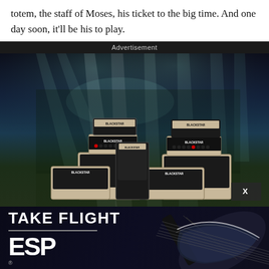totem, the staff of Moses, his ticket to the big time. And one day soon, it'll be his to play.
Advertisement
[Figure (photo): Blackstar amplifier advertisement showing multiple guitar amplifiers on a dark stage with dramatic spotlights overhead, followed by an ESP Guitars 'TAKE FLIGHT' advertisement strip with a dark guitar image on the right.]